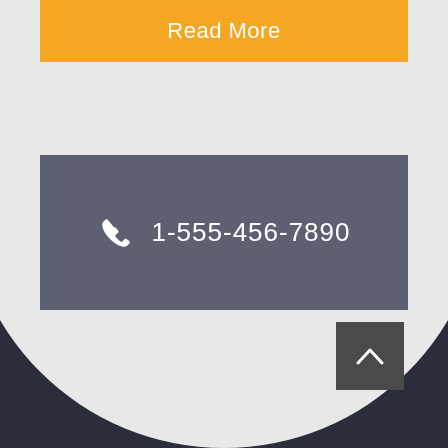Read More
1-555-456-7890
[Figure (other): Back to top chevron button, dark gray square with upward-pointing chevron arrow in white]